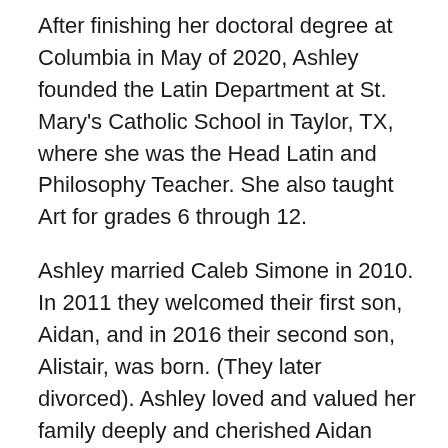After finishing her doctoral degree at Columbia in May of 2020, Ashley founded the Latin Department at St. Mary's Catholic School in Taylor, TX, where she was the Head Latin and Philosophy Teacher. She also taught Art for grades 6 through 12.
Ashley married Caleb Simone in 2010. In 2011 they welcomed their first son, Aidan, and in 2016 their second son, Alistair, was born. (They later divorced). Ashley loved and valued her family deeply and cherished Aidan (age 10) and Alistair (age 5). While in New York City, she and her family were members of Christ Church Anglican and then Emmanuel Anglican NYC, where she was committed to serving and building her local Christian community. In April of 2021 Ashley was confirmed in the Catholic Church at St. Mary's Cathedral in Austin, TX. Ashley was blessed by incredible friends and family and was well loved by her colleagues, friends, and church communities in